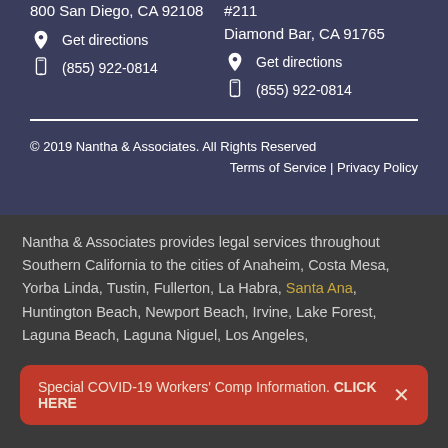800 San Diego, CA 92108
Get directions
(855) 922-0814
2107 Gateway Center Drive, #211
Diamond Bar, CA 91765
Get directions
(855) 922-0814
© 2019 Nantha & Associates. All Rights Reserved
Terms of Service | Privacy Policy
Nantha & Associates provides legal services throughout Southern California to the cities of Anaheim, Costa Mesa, Yorba Linda, Tustin, Fullerton, La Habra, Santa Ana, Huntington Beach, Newport Beach, Irvine, Lake Forest, Laguna Beach, Laguna Niguel, Los Angeles,
Special COVID-19 Workers' Comp Information. CLICK HERE
Corona, Riverside, Moreno Valley, Fontana, Pomona, San Bernardino,